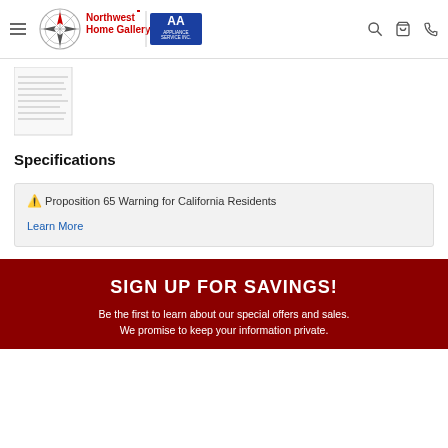[Figure (logo): Northwest Home Gallery / AA Appliance Service Inc. logo with compass rose icon and navigation icons (hamburger, search, cart, phone)]
[Figure (other): Thumbnail image of a document with text lines]
Specifications
⚠ Proposition 65 Warning for California Residents
Learn More
SIGN UP FOR SAVINGS!
Be the first to learn about our special offers and sales. We promise to keep your information private.